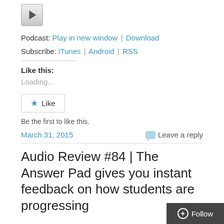[Figure (other): Play button for podcast audio player]
Podcast: Play in new window | Download
Subscribe: iTunes | Android | RSS
Like this:
Loading...
[Figure (other): Like button with star icon]
Be the first to like this.
March 31, 2015    Leave a reply
Audio Review #84 | The Answer Pad gives you instant feedback on how students are progressing
[Figure (other): Follow button in bottom right corner]